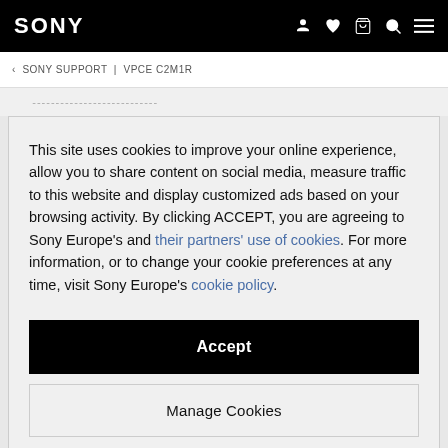SONY
‹ SONY SUPPORT | VPCE C2M1R
This site uses cookies to improve your online experience, allow you to share content on social media, measure traffic to this website and display customized ads based on your browsing activity. By clicking ACCEPT, you are agreeing to Sony Europe's and their partners' use of cookies. For more information, or to change your cookie preferences at any time, visit Sony Europe's cookie policy.
Accept
Manage Cookies